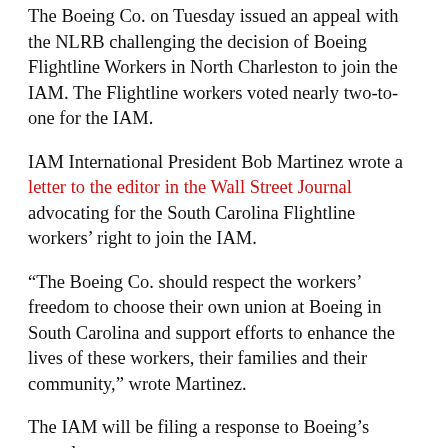The Boeing Co. on Tuesday issued an appeal with the NLRB challenging the decision of Boeing Flightline Workers in North Charleston to join the IAM. The Flightline workers voted nearly two-to-one for the IAM.
IAM International President Bob Martinez wrote a letter to the editor in the Wall Street Journal advocating for the South Carolina Flightline workers’ right to join the IAM.
“The Boeing Co. should respect the workers’ freedom to choose their own union at Boeing in South Carolina and support efforts to enhance the lives of these workers, their families and their community,” wrote Martinez.
The IAM will be filing a response to Boeing’s appeal.
“Boeing’s decision to appeal the Regional Director’s unit determination and refusal to obey the law is just one more in its long series of efforts to thwart the will of the employees at Boeing South Carolina to be represented